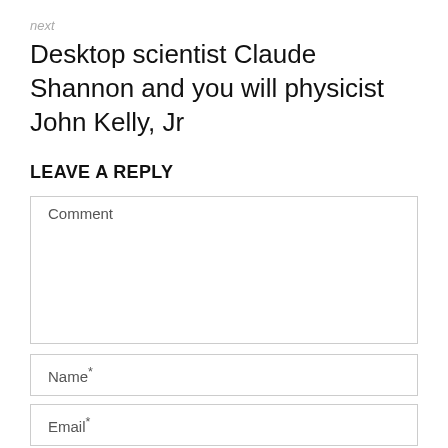next
Desktop scientist Claude Shannon and you will physicist John Kelly, Jr
LEAVE A REPLY
Comment
Name*
Email*